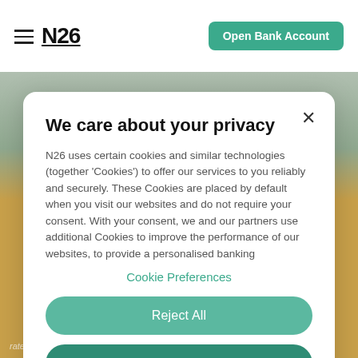N26  Open Bank Account
We care about your privacy
N26 uses certain cookies and similar technologies (together 'Cookies') to offer our services to you reliably and securely. These Cookies are placed by default when you visit our websites and do not require your consent. With your consent, we and our partners use additional Cookies to improve the performance of our websites, to provide a personalised banking
Cookie Preferences
Reject All
Accept All
rates are, how they change, and why they matter.